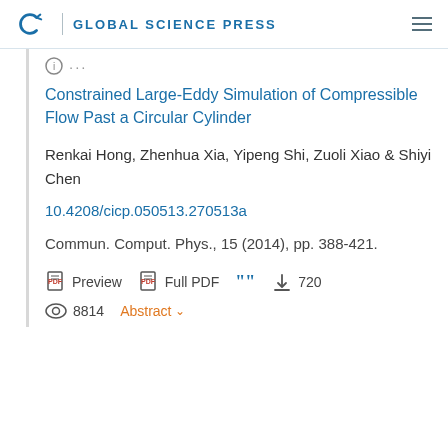GLOBAL SCIENCE PRESS
Constrained Large-Eddy Simulation of Compressible Flow Past a Circular Cylinder
Renkai Hong, Zhenhua Xia, Yipeng Shi, Zuoli Xiao & Shiyi Chen
10.4208/cicp.050513.270513a
Commun. Comput. Phys., 15 (2014), pp. 388-421.
Preview  Full PDF  [cite]  720  8814  Abstract